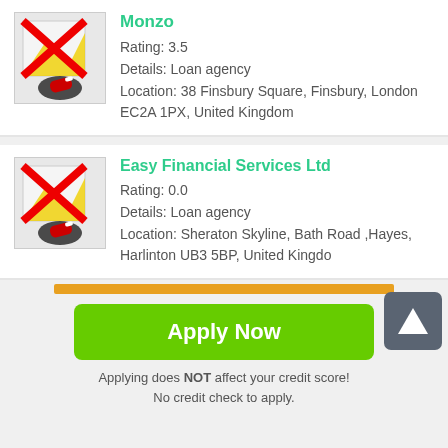[Figure (illustration): Map icon with red X overlay and location pin, used as placeholder image for Monzo listing]
Monzo
Rating: 3.5
Details: Loan agency
Location: 38 Finsbury Square, Finsbury, London EC2A 1PX, United Kingdom
[Figure (illustration): Map icon with red X overlay and location pin, used as placeholder image for Easy Financial Services Ltd listing]
Easy Financial Services Ltd
Rating: 0.0
Details: Loan agency
Location: Sheraton Skyline, Bath Road ,Hayes, Harlinton UB3 5BP, United Kingdom
[Figure (illustration): Up arrow button (dark gray rounded square) for scrolling up]
Apply Now
Applying does NOT affect your credit score!
No credit check to apply.